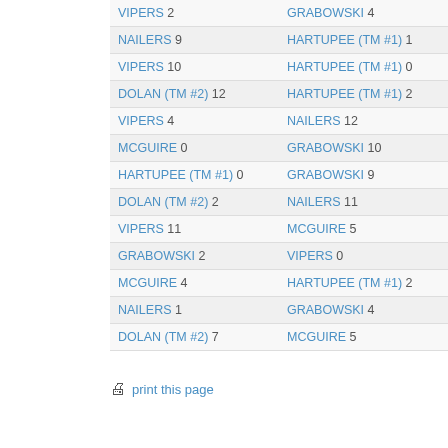| Team/Player - Score | Team/Player - Score |
| --- | --- |
| VIPERS 2 | GRABOWSKI 4 |
| NAILERS 9 | HARTUPEE (TM #1) 1 |
| VIPERS 10 | HARTUPEE (TM #1) 0 |
| DOLAN (TM #2) 12 | HARTUPEE (TM #1) 2 |
| VIPERS 4 | NAILERS 12 |
| MCGUIRE 0 | GRABOWSKI 10 |
| HARTUPEE (TM #1) 0 | GRABOWSKI 9 |
| DOLAN (TM #2) 2 | NAILERS 11 |
| VIPERS 11 | MCGUIRE 5 |
| GRABOWSKI 2 | VIPERS 0 |
| MCGUIRE 4 | HARTUPEE (TM #1) 2 |
| NAILERS 1 | GRABOWSKI 4 |
| DOLAN (TM #2) 7 | MCGUIRE 5 |
print this page